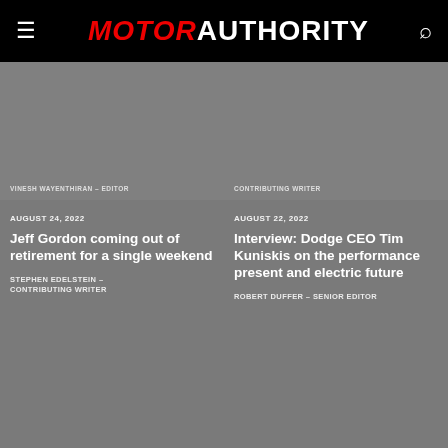MOTOR AUTHORITY
VINESH WAYENTHIRAN – EDITOR
CONTRIBUTING WRITER
AUGUST 24, 2022
Jeff Gordon coming out of retirement for a single weekend
STEPHEN EDELSTEIN – CONTRIBUTING WRITER
AUGUST 22, 2022
Interview: Dodge CEO Tim Kuniskis on the performance present and electric future
ROBERT DUFFER – SENIOR EDITOR